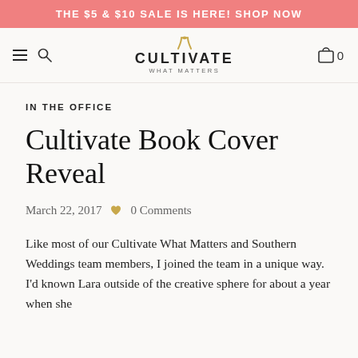THE $5 & $10 SALE IS HERE! SHOP NOW
[Figure (logo): Cultivate What Matters logo with golden leaf icon, site navigation including hamburger menu, search icon, and cart with 0 items]
IN THE OFFICE
Cultivate Book Cover Reveal
March 22, 2017  0 Comments
Like most of our Cultivate What Matters and Southern Weddings team members, I joined the team in a unique way. I'd known Lara outside of the creative sphere for about a year when she